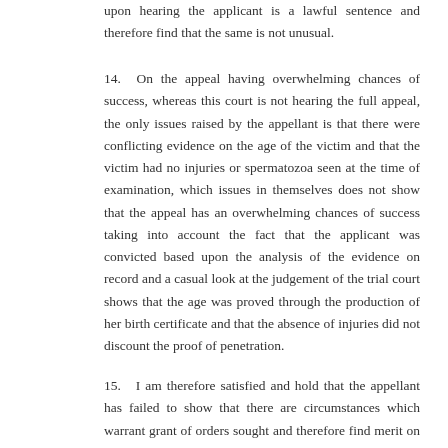upon hearing the applicant is a lawful sentence and therefore find that the same is not unusual.
14. On the appeal having overwhelming chances of success, whereas this court is not hearing the full appeal, the only issues raised by the appellant is that there were conflicting evidence on the age of the victim and that the victim had no injuries or spermatozoa seen at the time of examination, which issues in themselves does not show that the appeal has an overwhelming chances of success taking into account the fact that the applicant was convicted based upon the analysis of the evidence on record and a casual look at the judgement of the trial court shows that the age was proved through the production of her birth certificate and that the absence of injuries did not discount the proof of penetration.
15. I am therefore satisfied and hold that the appellant has failed to show that there are circumstances which warrant grant of orders sought and therefore find merit on the application but I